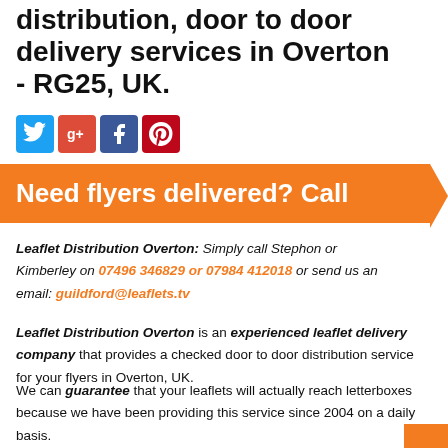distribution, door to door delivery services in Overton - RG25, UK.
[Figure (other): Social media icons: Twitter (blue bird), Google+ (red g+), Facebook (blue f), Pinterest (red p)]
Need flyers delivered? Call
Leaflet Distribution Overton: Simply call Stephon or Kimberley on 07496 346829 or 07984 412018 or send us an email: guildford@leaflets.tv
Leaflet Distribution Overton is an experienced leaflet delivery company that provides a checked door to door distribution service for your flyers in Overton, UK.
We can guarantee that your leaflets will actually reach letterboxes because we have been providing this service since 2004 on a daily basis.